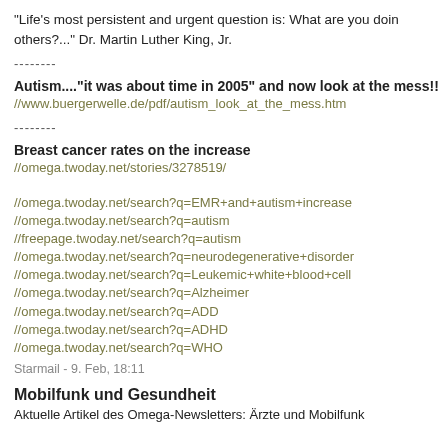"Life's most persistent and urgent question is: What are you doing for others?..." Dr. Martin Luther King, Jr.
--------
Autism...."it was about time in 2005" and now look at the mess!! //www.buergerwelle.de/pdf/autism_look_at_the_mess.htm
--------
Breast cancer rates on the increase
//omega.twoday.net/stories/3278519/
//omega.twoday.net/search?q=EMR+and+autism+increase
//omega.twoday.net/search?q=autism
//freepage.twoday.net/search?q=autism
//omega.twoday.net/search?q=neurodegenerative+disorder
//omega.twoday.net/search?q=Leukemic+white+blood+cell
//omega.twoday.net/search?q=Alzheimer
//omega.twoday.net/search?q=ADD
//omega.twoday.net/search?q=ADHD
//omega.twoday.net/search?q=WHO
Starmail - 9. Feb, 18:11
Mobilfunk und Gesundheit
Aktuelle Artikel des Omega-Newsletters: Ärzte und Mobilfunk